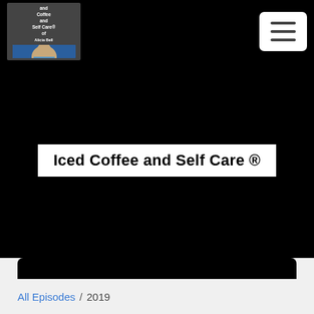[Figure (screenshot): Navigation bar with podcast logo on left and hamburger menu button on right, black background]
Iced Coffee and Self Care ®
[Figure (screenshot): Black hero section containing white banner with podcast title. Below: black rounded box with RSS feed icon button.]
All Episodes / 2019